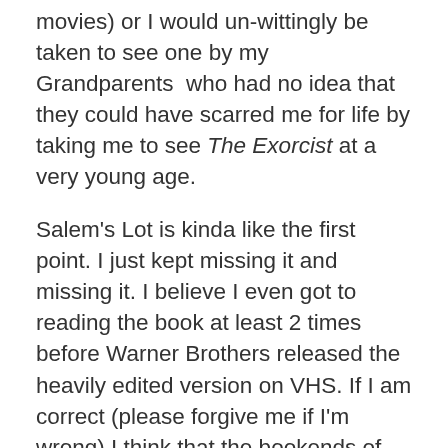movies) or I would un-wittingly be taken to see one by my Grandparents  who had no idea that they could have scarred me for life by taking me to see The Exorcist at a very young age.
Salem's Lot is kinda like the first point. I just kept missing it and missing it. I believe I even got to reading the book at least 2 times before Warner Brothers released the heavily edited version on VHS. If I am correct (please forgive me if I'm wrong) I think that the bookends of the movie were cut out. But I didn't know about that since I had never watched the mini – series.